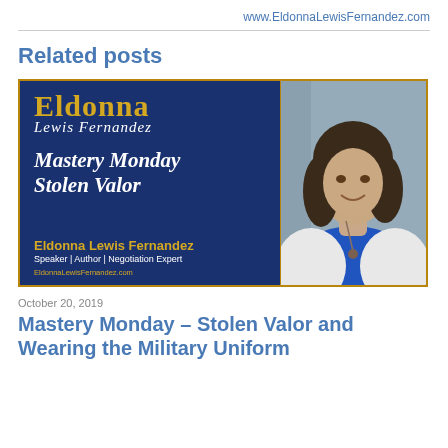www.EldonnaLewisFernandez.com
Related posts
[Figure (photo): Promotional image for Mastery Monday – Stolen Valor featuring Eldonna Lewis Fernandez branding on a dark blue background with a portrait photo of a woman in a blue top and white jacket on the right side.]
October 20, 2019
Mastery Monday – Stolen Valor and Wearing the Military Uniform